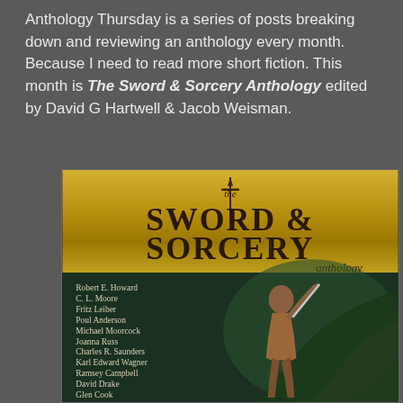Anthology Thursday is a series of posts breaking down and reviewing an anthology every month. Because I need to read more short fiction. This month is The Sword & Sorcery Anthology edited by David G Hartwell & Jacob Weisman.
[Figure (illustration): Book cover of The Sword & Sorcery Anthology edited by David G Hartwell & Jacob Weisman. Gold banner at top with title text 'the SWORD & SORCERY anthology' in dark serif font. Lower half shows a dark fantasy scene with a muscular warrior fighting a dragon/serpent creature, with a list of contributing authors: Robert E. Howard, C. L. Moore, Fritz Leiber, Poul Anderson, Michael Moorcock, Joanna Russ, Charles R. Saunders, Karl Edward Wagner, Ramsey Campbell, David Drake, Glen Cook, and more.]